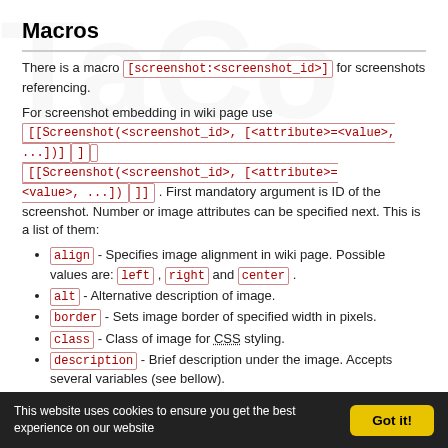Macros
There is a macro [screenshot:<screenshot_id>] for screenshots referencing.
For screenshot embedding in wiki page use [[Screenshot(<screenshot_id>, [<attribute>=<value>, ...])]]. First mandatory argument is ID of the screenshot. Number or image attributes can be specified next. This is a list of them:
align - Specifies image alignment in wiki page. Possible values are: left, right and center.
alt - Alternative description of image.
border - Sets image border of specified width in pixels.
class - Class of image for CSS styling.
description - Brief description under the image. Accepts several variables (see bellow).
format - Format of returned image or screenshot behind link.
height - Height of image. Set to 0 if you want original image height.
id - ID of image for CSS styling.
longdesc - Detailed description of image.
This website uses cookies to ensure you get the best experience on our website   Got it!